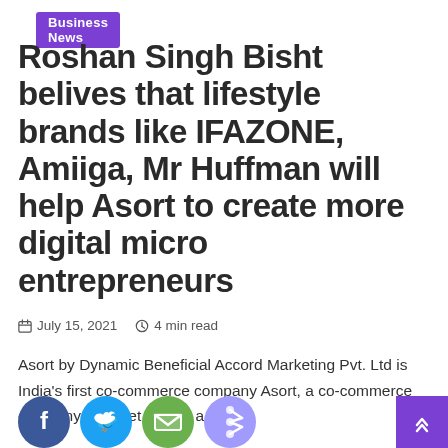Business News
Roshan Singh Bisht belives that lifestyle brands like IFAZONE, Amiiga, Mr Huffman will help Asort to create more digital micro entrepreneurs
July 15, 2021  4 min read
Asort by Dynamic Beneficial Accord Marketing Pvt. Ltd is India's first co-commerce company Asort, a co-commerce company is all set to give a fillip to